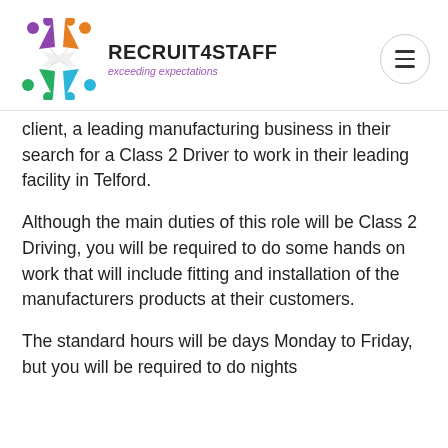[Figure (logo): Recruit4Staff logo with colourful star/people icon and text 'RECRUIT4STAFF exceeding expectations']
client, a leading manufacturing business in their search for a Class 2 Driver to work in their leading facility in Telford.
Although the main duties of this role will be Class 2 Driving, you will be required to do some hands on work that will include fitting and installation of the manufacturers products at their customers.
The standard hours will be days Monday to Friday, but you will be required to do nights